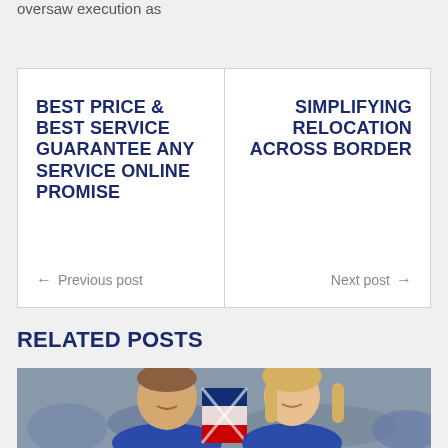oversaw execution as
BEST PRICE & BEST SERVICE GUARANTEE ANY SERVICE ONLINE PROMISE
← Previous post
SIMPLIFYING RELOCATION ACROSS BORDER
Next post →
RELATED POSTS
[Figure (photo): Two people smiling and holding a flag, appearing to be athletes celebrating]